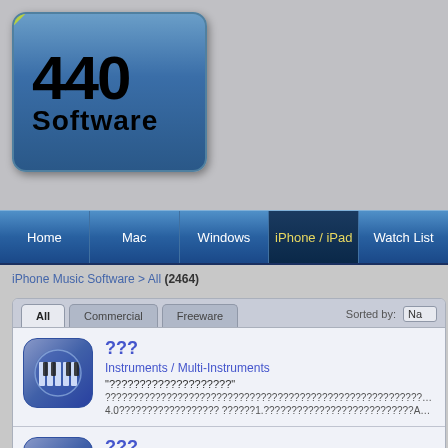[Figure (logo): 440 Software logo with BETA ribbon, blue rounded rectangle with black 440 Software text]
Home | Mac | Windows | iPhone / iPad | Watch List
iPhone Music Software > All (2464)
??? | Instruments / Multi-Instruments | "????????????????????" | ?????????????????????????????????????????????????????????????????? | 4.0?????????????????? ??????1.???????????????????????????App?...
??? | Instruments / Strings | "????????????????????" | ?????????????????????????????????????????????????????????????????? | 4.0?????????????????? ??????1.???????????????????????????App?...